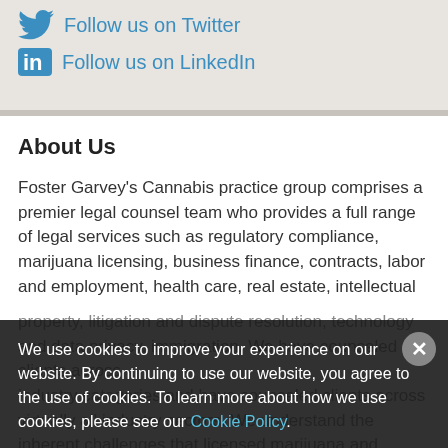Follow us on Twitter
Follow us on LinkedIn
About Us
Foster Garvey's Cannabis practice group comprises a premier legal counsel team who provides a full range of legal services such as regulatory compliance, marijuana licensing, business finance, contracts, labor and employment, health care, real estate, intellectual property, litigation and dispute resolution, technology and data privacy, immigration. We have counseled clients across industry categories and have counseled clients across virtually all industry sectors. We understand the inherent challenges that licensed marijuana and ancillary businesses in Washington state, Oregon and Alaska face in this highly regulated industry as they deal with onerous state and local
We use cookies to improve your experience on our website. By continuing to use our website, you agree to the use of cookies. To learn more about how we use cookies, please see our Cookie Policy.